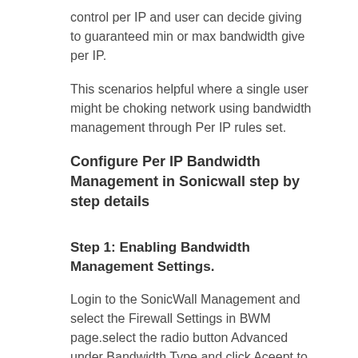control per IP and user can decide giving to guaranteed min or max bandwidth give per IP.
This scenarios helpful where a single user might be choking network using bandwidth management through Per IP rules set.
Configure Per IP Bandwidth Management in Sonicwall step by step details
Step 1: Enabling Bandwidth Management Settings.
Login to the SonicWall Management and select the Firewall Settings in BWM page.select the radio button Advanced under Bandwidth Type and click Aceept to save changes.